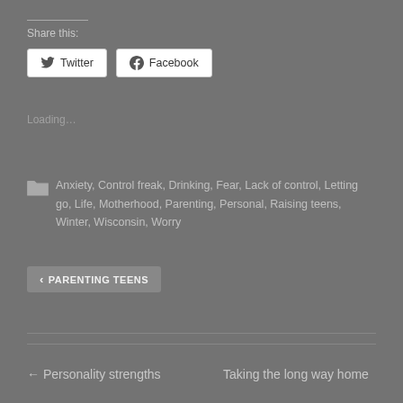Share this:
[Figure (screenshot): Twitter and Facebook share buttons]
Loading…
Anxiety, Control freak, Drinking, Fear, Lack of control, Letting go, Life, Motherhood, Parenting, Personal, Raising teens, Winter, Wisconsin, Worry
← PARENTING TEENS
← Personality strengths
Taking the long way home